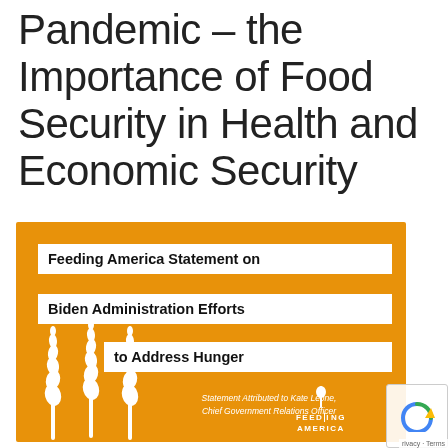Pandemic – the Importance of Food Security in Health and Economic Security
[Figure (infographic): Orange Feeding America infographic box with white text banners reading 'Feeding America Statement on Biden Administration Efforts to Address Hunger', attributed to Kate Leone, Chief Government Relations Officer, with wheat stalk icons and Feeding America logo.]